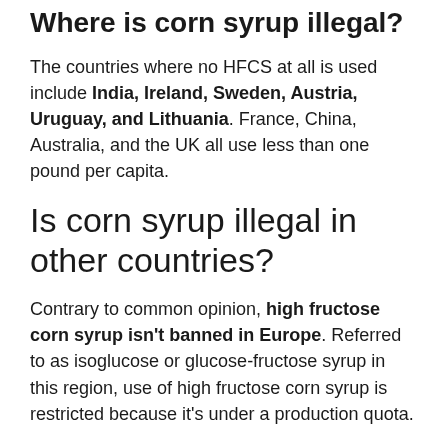Where is corn syrup illegal?
The countries where no HFCS at all is used include India, Ireland, Sweden, Austria, Uruguay, and Lithuania. France, China, Australia, and the UK all use less than one pound per capita.
Is corn syrup illegal in other countries?
Contrary to common opinion, high fructose corn syrup isn't banned in Europe. Referred to as isoglucose or glucose-fructose syrup in this region, use of high fructose corn syrup is restricted because it's under a production quota.